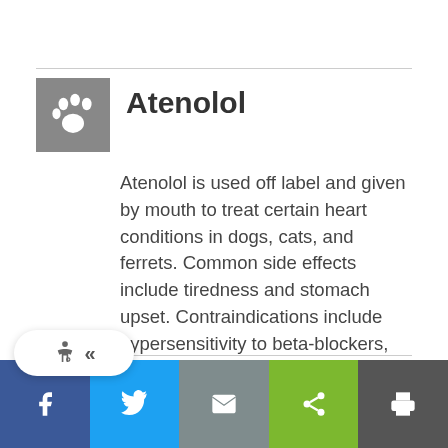Atenolol
Atenolol is used off label and given by mouth to treat certain heart conditions in dogs, cats, and ferrets. Common side effects include tiredness and stomach upset. Contraindications include hypersensitivity to beta-blockers, heart failure, heart block, low heart rate, or certain lung disease. If a negative reaction occurs, please call your veterinary office.